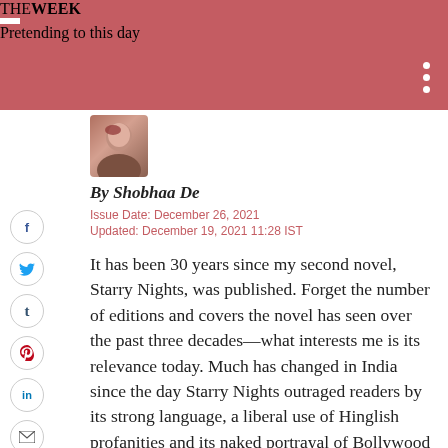THE WEEK
Pretending to this day
By Shobhaa De
Issue Date: December 26, 2021
Updated: December 19, 2021 11:28 IST
It has been 30 years since my second novel, Starry Nights, was published. Forget the number of editions and covers the novel has seen over the past three decades—what interests me is its relevance today. Much has changed in India since the day Starry Nights outraged readers by its strong language, a liberal use of Hinglish profanities and its naked portrayal of Bollywood lives. But one thing remains the same—our hypocrisy.